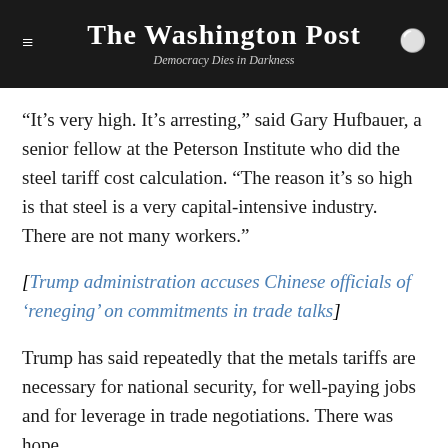The Washington Post
Democracy Dies in Darkness
“It’s very high. It’s arresting,” said Gary Hufbauer, a senior fellow at the Peterson Institute who did the steel tariff cost calculation. “The reason it’s so high is that steel is a very capital-intensive industry. There are not many workers.”
[Trump administration accuses Chinese officials of ‘reneging’ on commitments in trade talks]
Trump has said repeatedly that the metals tariffs are necessary for national security, for well-paying jobs and for leverage in trade negotiations. There was hope